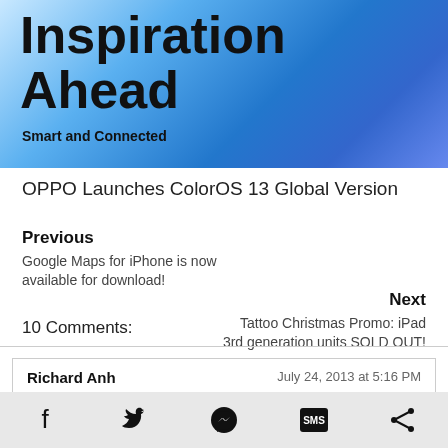[Figure (illustration): Blue abstract banner with bold text 'Inspiration Ahead' and subtitle 'Smart and Connected' on a gradient blue background]
OPPO Launches ColorOS 13 Global Version
Previous
Google Maps for iPhone is now available for download!
Next
Tattoo Christmas Promo: iPad 3rd generation units SOLD OUT!
10 Comments:
Richard Anh
July 24, 2013 at 5:16 PM
Mangyaring backup ROM sa akin!
please backup rom, i need rom!!
Reply